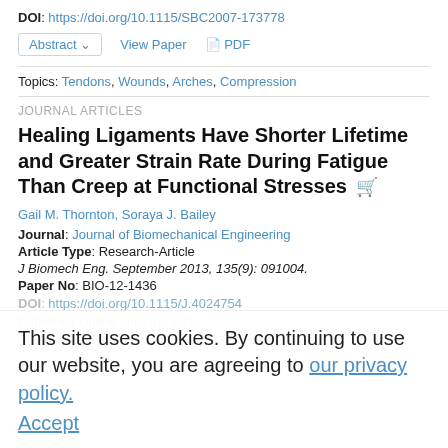DOI: https://doi.org/10.1115/SBC2007-173778
Abstract ∨   View Paper   PDF
Topics: Tendons, Wounds, Arches, Compression
JOURNAL ARTICLES
Healing Ligaments Have Shorter Lifetime and Greater Strain Rate During Fatigue Than Creep at Functional Stresses
Gail M. Thornton, Soraya J. Bailey
Journal: Journal of Biomechanical Engineering
Article Type: Research-Article
J Biomech Eng. September 2013, 135(9): 091004.
Paper No: BIO-12-1436
This site uses cookies. By continuing to use our website, you are agreeing to our privacy policy. Accept